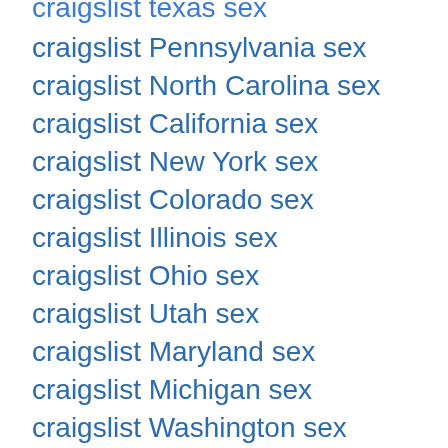craigslist texas sex
craigslist Pennsylvania sex
craigslist North Carolina sex
craigslist California sex
craigslist New York sex
craigslist Colorado sex
craigslist Illinois sex
craigslist Ohio sex
craigslist Utah sex
craigslist Maryland sex
craigslist Michigan sex
craigslist Washington sex
craigslist Minnesota sex
craigslist Arizona sex